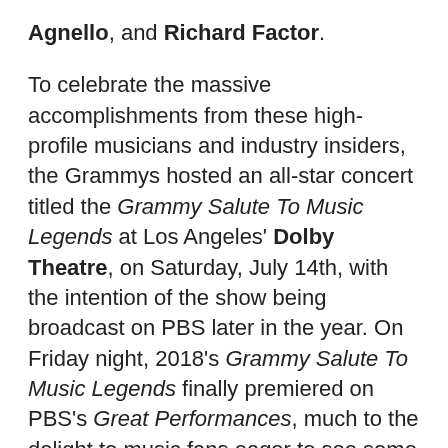Agnello, and Richard Factor.

To celebrate the massive accomplishments from these high-profile musicians and industry insiders, the Grammys hosted an all-star concert titled the Grammy Salute To Music Legends at Los Angeles' Dolby Theatre, on Saturday, July 14th, with the intention of the show being broadcast on PBS later in the year. On Friday night, 2018's Grammy Salute To Music Legends finally premiered on PBS's Great Performances, much to the delight to music fans eager to see some of their favorite artists honored.

For each Grammy Lifetime Achievement Award recipient, the show offered up